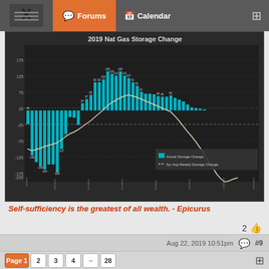Forums | Calendar
[Figure (bar-chart): Bar chart showing 2019 Natural Gas Storage Change with actual storage change bars (teal) and 5yr Avg Weekly Storage Change line (white/cream). Values range from approximately -291 to +128 Bcf across weekly dates from January to December 2019.]
Self-sufficiency is the greatest of all wealth. - Epicurus
2
Aug 22, 2019 10:51pm
#9
helgastrxd | Joined Jul 2013
Page 1 2 3 4 → 28